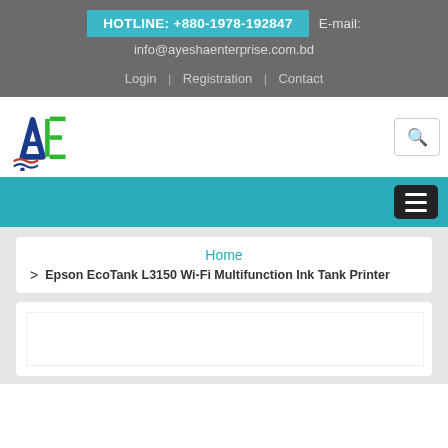HOTLINE: +880-1978-192847  E-mail: info@ayeshaenterprise.com.bd
Login | Registration | Contact
[Figure (logo): AE logo with blue A, green E and red/blue wave lines]
Home > Epson EcoTank L3150 Wi-Fi Multifunction Ink Tank Printer